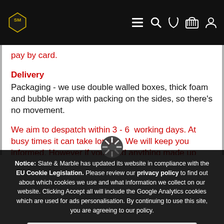[Figure (screenshot): Website header with SM logo (gold diamond shape) on left, and navigation icons (hamburger menu, search, phone, cart, user) on right, all on black background]
pay by card.
Delivery
Packaging - we use double walled boxes, thick foam and bubble wrap with packing on the sides, so there's no movement.
We aim to despatch within 3 - 6  working days. At busy times it can take longer.  We will keep you informed. However if you need anything made up sooner, please send a message before ordering.  In most cases we'll be
Notice: Slate & Marble has updated its website in compliance with the EU Cookie Legislation. Please review our privacy policy to find out about which cookies we use and what information we collect on our website. Clicking Accept all will include the Google Analytics cookies which are used for ads personalisation. By continuing to use this site, you are agreeing to our policy.
Accept All & Continue
Review & Change